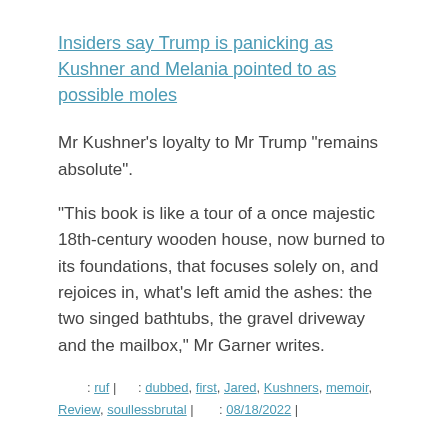Insiders say Trump is panicking as Kushner and Melania pointed to as possible moles
Mr Kushner's loyalty to Mr Trump “remains absolute”.
“This book is like a tour of a once majestic 18th-century wooden house, now burned to its foundations, that focuses solely on, and rejoices in, what’s left amid the ashes: the two singed bathtubs, the gravel driveway and the mailbox,” Mr Garner writes.
: ruf | : dubbed, first, Jared, Kushners, memoir, Review, soullessbrutal | : 08/18/2022 |